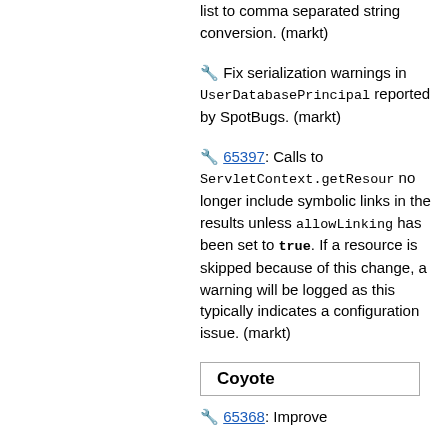🔧 Fix serialization warnings in UserDatabasePrincipal reported by SpotBugs. (markt)
🔧 65397: Calls to ServletContext.getResour... no longer include symbolic links in the results unless allowLinking has been set to true. If a resource is skipped because of this change, a warning will be logged as this typically indicates a configuration issue. (markt)
Coyote
🔧 65368: Improve